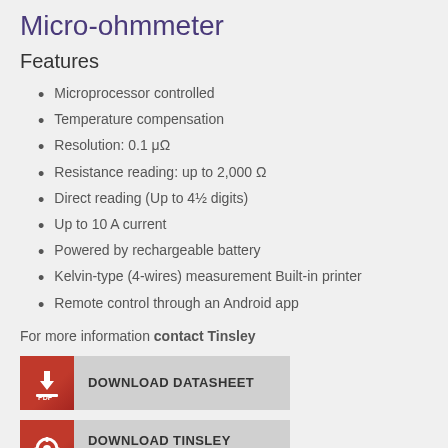Micro-ohmmeter
Features
Microprocessor controlled
Temperature compensation
Resolution: 0.1 μΩ
Resistance reading: up to 2,000 Ω
Direct reading (Up to 4½ digits)
Up to 10 A current
Powered by rechargeable battery
Kelvin-type (4-wires) measurement Built-in printer
Remote control through an Android app
For more information contact Tinsley
[Figure (infographic): DOWNLOAD DATASHEET button with red PDF icon]
[Figure (infographic): DOWNLOAD TINSLEY DESKTOP SOFTWARE button with red settings/download icon]
[Figure (infographic): DOWNLOAD Android App button with red Android icon (partially visible)]